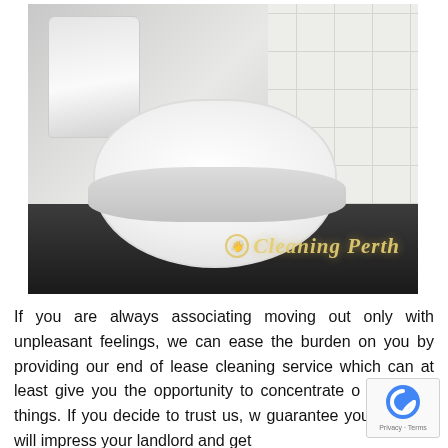[Figure (photo): Photograph of a clean white toilet in a bathroom with white tiles on the wall and dark floor tiles. A watermark reading 'Cleaning Perth' with a logo is overlaid in the bottom right of the photo.]
If you are always associating moving out only with unpleasant feelings, we can ease the burden on you by providing our end of lease cleaning service which can at least give you the opportunity to concentrate o important things. If you decide to trust us, w guarantee you that you will impress your landlord and get